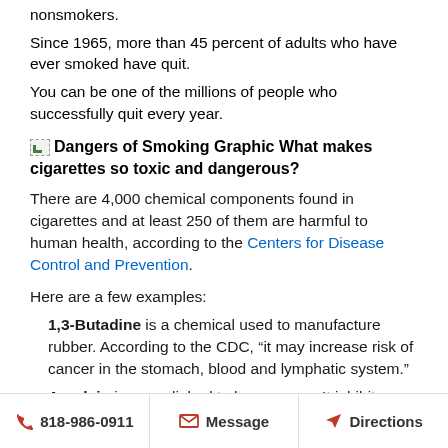nonsmokers.
Since 1965, more than 45 percent of adults who have ever smoked have quit.
You can be one of the millions of people who successfully quit every year.
[image] Dangers of Smoking Graphic What makes cigarettes so toxic and dangerous?
There are 4,000 chemical components found in cigarettes and at least 250 of them are harmful to human health, according to the Centers for Disease Control and Prevention.
Here are a few examples:
1,3-Butadine is a chemical used to manufacture rubber. According to the CDC, “it may increase risk of cancer in the stomach, blood and lymphatic system.”
Acrolein is a gas linked to lung cancer. It inhibits DNA repair and can destroy the lining in the lungs that protects you from lung disease.
818-986-0911   Message   Directions